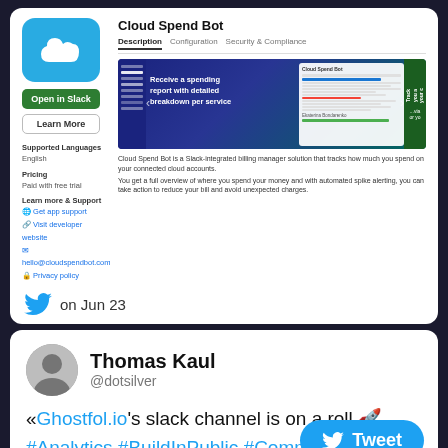[Figure (screenshot): Cloud Spend Bot Slack app listing screenshot showing app icon, Open in Slack button, Learn More button, supported languages (English), Pricing (Paid with free trial), Learn more & Support links, and a preview screenshot of the app interface. Below the screenshot is a description of the app.]
on Jun 23
[Figure (photo): Profile photo of Thomas Kaul]
Thomas Kaul
@dotsilver
«Ghostfol.io's slack channel is on a roll 🚀
#Analytics #BuildInPublic #Community